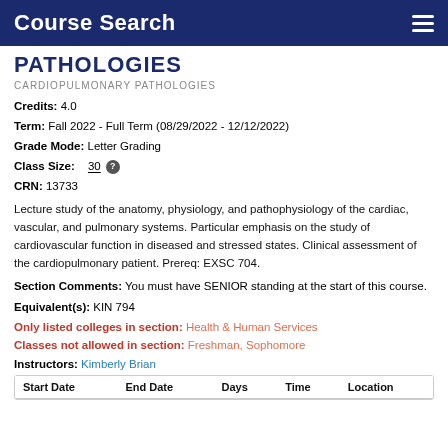Course Search
PATHOLOGIES
CARDIOPULMONARY PATHOLOGIES
Credits: 4.0
Term: Fall 2022 - Full Term (08/29/2022 - 12/12/2022)
Grade Mode: Letter Grading
Class Size: 30
CRN: 13733
Lecture study of the anatomy, physiology, and pathophysiology of the cardiac, vascular, and pulmonary systems. Particular emphasis on the study of cardiovascular function in diseased and stressed states. Clinical assessment of the cardiopulmonary patient. Prereq: EXSC 704.
Section Comments: You must have SENIOR standing at the start of this course.
Equivalent(s): KIN 794
Only listed colleges in section: Health & Human Services
Classes not allowed in section: Freshman, Sophomore
Instructors: Kimberly Brian
| Start Date | End Date | Days | Time | Location |
| --- | --- | --- | --- | --- |